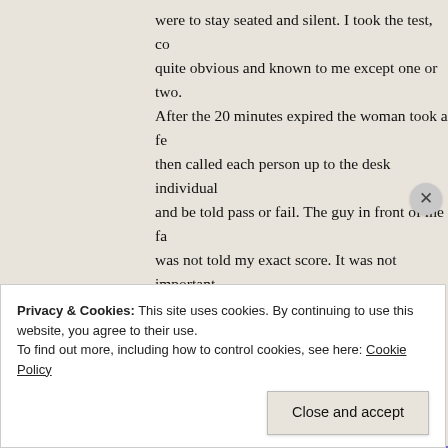were to stay seated and silent. I took the test, co quite obvious and known to me except one or two. After the 20 minutes expired the woman took a fe then called each person up to the desk individual and be told pass or fail. The guy in front of me fai was not told my exact score. It was not important step. Everything should be coming to a relatively
Advertisements
[Figure (illustration): Advertisement banner with blue-to-purple gradient background and white bold text reading 'Simplified pricing for everything you need.']
All of this time the theory exam was my bigge
Privacy & Cookies: This site uses cookies. By continuing to use this website, you agree to their use.
To find out more, including how to control cookies, see here: Cookie Policy